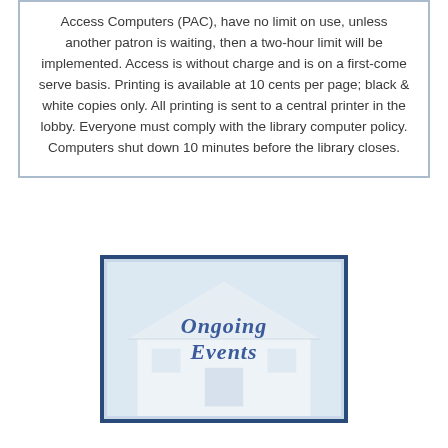Access Computers (PAC), have no limit on use, unless another patron is waiting, then a two-hour limit will be implemented. Access is without charge and is on a first-come serve basis. Printing is available at 10 cents per page; black & white copies only. All printing is sent to a central printer in the lobby. Everyone must comply with the library computer policy. Computers shut down 10 minutes before the library closes.
[Figure (illustration): An image with a light blue background showing a building/house outline and the text 'Ongoing Events' in dark blue italic serif font overlaid on top.]